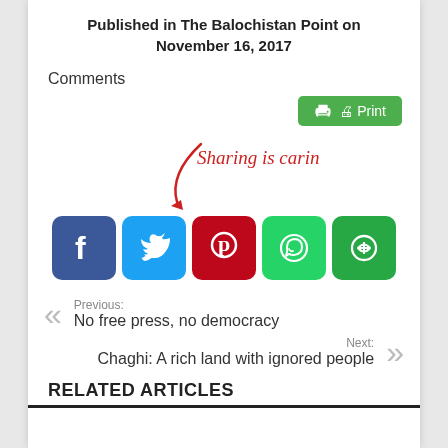Published in The Balochistan Point on November 16, 2017
Comments
[Figure (screenshot): Green Print button with printer icon]
[Figure (infographic): Sharing is caring! handwritten text with red arrow pointing to social media buttons (Facebook, Twitter, Pinterest, WhatsApp, and another green share button)]
Previous: No free press, no democracy
Next: Chaghi: A rich land with ignored people
RELATED ARTICLES